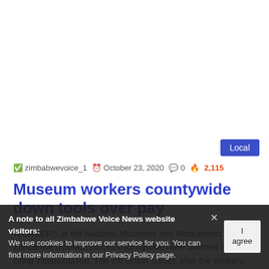Local
zimbabwevoice_1  October 23, 2020  0  2,115
Museum workers countywide down tools over pay
WORKERS at the National Museums and Monuments of Zimbabwe (NMMZ) offices countrywide have downed tools citing incapacitation. The job action comes after the workers petitioned government over poor and delayed salaries. Last week, the workers wrote to Chief Secretary to the President and Cabinet Misheck Sibanda and Home Affairs secretary Aaron Nhepera, demanding a review of their working conditions. In...
A note to all Zimbabwe Voice News website visitors: We use cookies to improve our service for you. You can find more information in our Privacy Policy page.